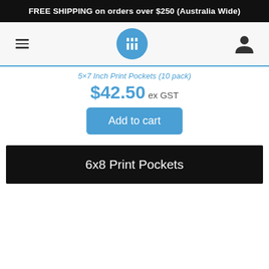FREE SHIPPING on orders over $250 (Australia Wide)
[Figure (logo): Website navigation bar with hamburger menu icon on left, circular blue logo with white lock/grid emblem in center, and user account icon on right]
5×7 Inch Print Pockets (10 pack)
$42.50 ex GST
Add to cart
6x8 Print Pockets